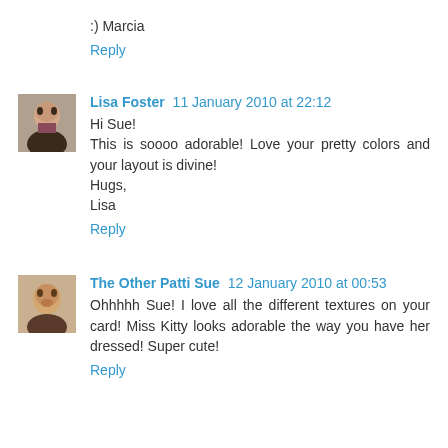:) Marcia
Reply
Lisa Foster 11 January 2010 at 22:12
Hi Sue!
This is soooo adorable! Love your pretty colors and your layout is divine!
Hugs,
Lisa
Reply
The Other Patti Sue 12 January 2010 at 00:53
Ohhhhh Sue! I love all the different textures on your card! Miss Kitty looks adorable the way you have her dressed! Super cute!
Reply